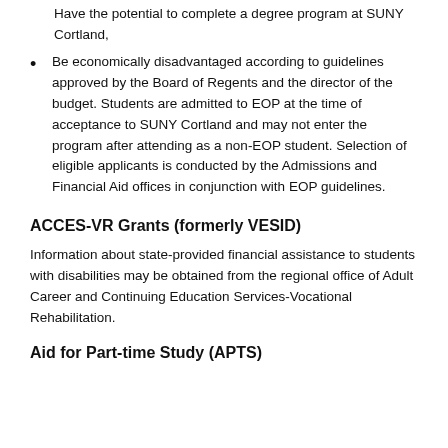Have the potential to complete a degree program at SUNY Cortland,
Be economically disadvantaged according to guidelines approved by the Board of Regents and the director of the budget. Students are admitted to EOP at the time of acceptance to SUNY Cortland and may not enter the program after attending as a non-EOP student. Selection of eligible applicants is conducted by the Admissions and Financial Aid offices in conjunction with EOP guidelines.
ACCES-VR Grants (formerly VESID)
Information about state-provided financial assistance to students with disabilities may be obtained from the regional office of Adult Career and Continuing Education Services-Vocational Rehabilitation.
Aid for Part-time Study (APTS)